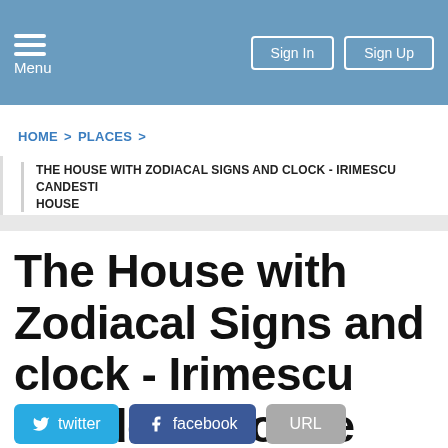Menu | Sign In | Sign Up
HOME > PLACES >
THE HOUSE WITH ZODIACAL SIGNS AND CLOCK - IRIMESCU CANDESTI HOUSE
The House with Zodiacal Signs and clock - Irimescu Candesti House
twitter  facebook  URL